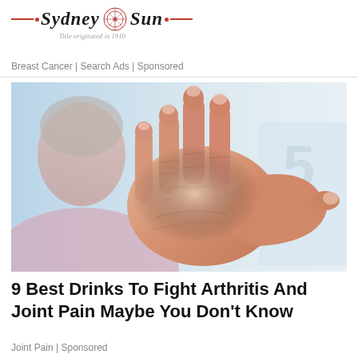Sydney Sun · Title originated in 1910
Breast Cancer | Search Ads | Sponsored
[Figure (photo): Elderly woman holding up her hand, showing arthritic fingers close to the camera, blurred background.]
9 Best Drinks To Fight Arthritis And Joint Pain Maybe You Don't Know
Joint Pain | Sponsored